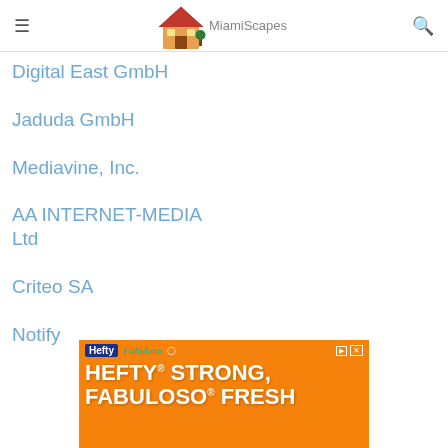MiamiScapes
Digital East GmbH
Jaduda GmbH
Mediavine, Inc.
AA INTERNET-MEDIA Ltd
Criteo SA
Notify
[Figure (photo): Hefty and Fabuloso advertisement banner with orange background. Text reads: HEFTY STRONG, FABULOSO FRESH. Shows Hefty brand logos and product images.]